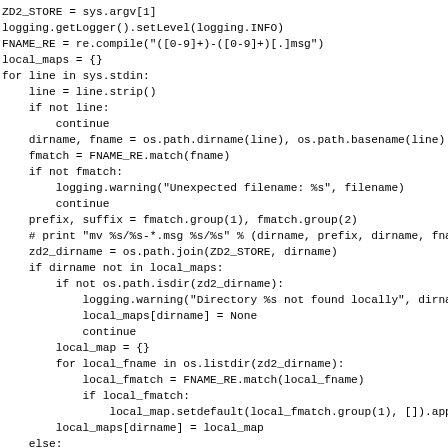[Figure (screenshot): Python source code snippet showing file processing logic with logging, regex matching, directory checking, and file renaming operations.]